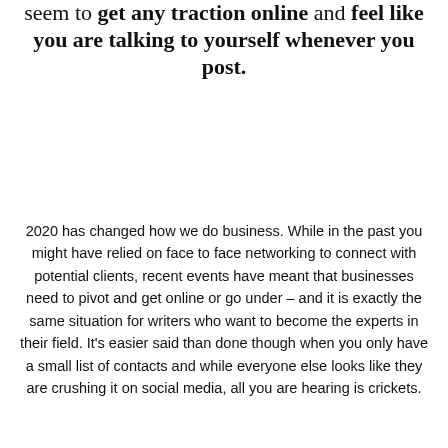seem to get any traction online and feel like you are talking to yourself whenever you post.
2020 has changed how we do business. While in the past you might have relied on face to face networking to connect with potential clients, recent events have meant that businesses need to pivot and get online or go under – and it is exactly the same situation for writers who want to become the experts in their field. It's easier said than done though when you only have a small list of contacts and while everyone else looks like they are crushing it on social media, all you are hearing is crickets.